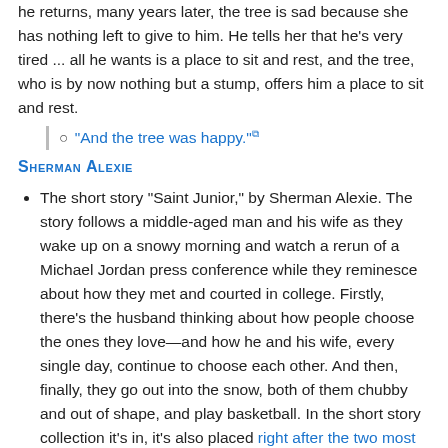he returns, many years later, the tree is sad because she has nothing left to give to him. He tells her that he's very tired ... all he wants is a place to sit and rest, and the tree, who is by now nothing but a stump, offers him a place to sit and rest.
"And the tree was happy."
Sherman Alexie
The short story "Saint Junior," by Sherman Alexie. The story follows a middle-aged man and his wife as they wake up on a snowy morning and watch a rerun of a Michael Jordan press conference while they reminesce about how they met and courted in college. Firstly, there's the husband thinking about how people choose the ones they love—and how he and his wife, every single day, continue to choose each other. And then, finally, they go out into the snow, both of them chubby and out of shape, and play basketball. In the short story collection it's in, it's also placed right after the two most depressing stories in